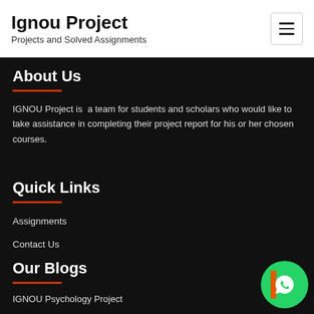Ignou Project — Projects and Solved Assignments
About Us
IGNOU Project is a team for students and scholars who would like to take assistance in completing their project report for his or her chosen courses.
Quick Links
Assignments
Contact Us
Our Blogs
IGNOU Psychology Project
[Figure (logo): WhatsApp contact button — green circular icon with phone/chat symbol]